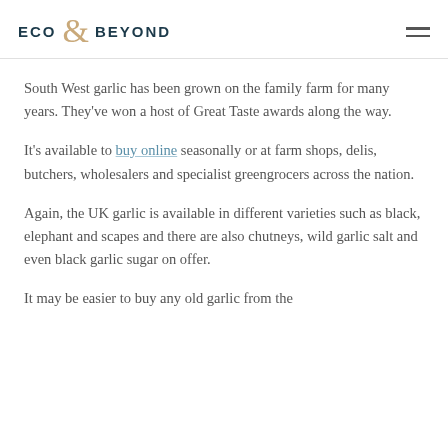ECO & BEYOND
South West garlic has been grown on the family farm for many years. They've won a host of Great Taste awards along the way.
It's available to buy online seasonally or at farm shops, delis, butchers, wholesalers and specialist greengrocers across the nation.
Again, the UK garlic is available in different varieties such as black, elephant and scapes and there are also chutneys, wild garlic salt and even black garlic sugar on offer.
It may be easier to buy any old garlic from the